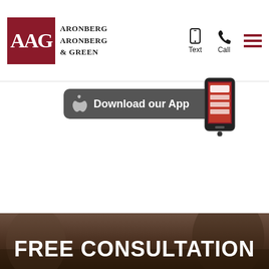[Figure (logo): AAG Aronberg Aronberg & Green law firm logo with dark red square containing AAG letters and firm name in serif font]
[Figure (screenshot): Navigation icons: phone/text icon, call icon, and hamburger menu icon in dark red]
[Figure (screenshot): Download our App banner with Apple logo icon on dark gray background with smartphone image]
FREE CONSULTATION